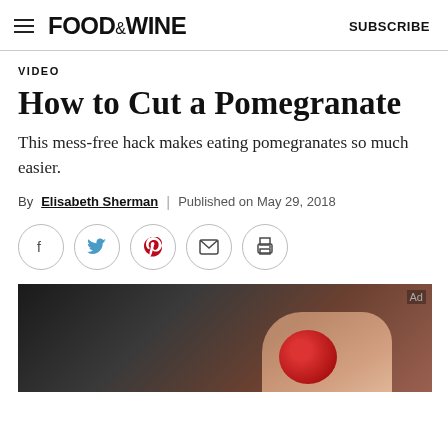FOOD&WINE | SUBSCRIBE
VIDEO
How to Cut a Pomegranate
This mess-free hack makes eating pomegranates so much easier.
By Elisabeth Sherman | Published on May 29, 2018
[Figure (other): Social sharing icons: Facebook, Twitter, Pinterest, Email, Print]
[Figure (photo): Video thumbnail showing hands cutting a pomegranate on a dark background. Ad label visible in top right corner.]